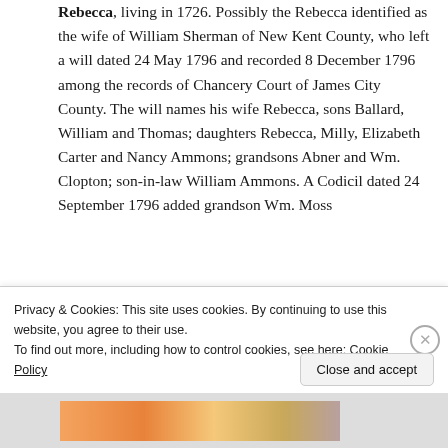Rebecca, living in 1726. Possibly the Rebecca identified as the wife of William Sherman of New Kent County, who left a will dated 24 May 1796 and recorded 8 December 1796 among the records of Chancery Court of James City County. The will names his wife Rebecca, sons Ballard, William and Thomas; daughters Rebecca, Milly, Elizabeth Carter and Nancy Ammons; grandsons Abner and Wm. Clopton; son-in-law William Ammons. A Codicil dated 24 September 1796 added grandson Wm. Moss
Privacy & Cookies: This site uses cookies. By continuing to use this website, you agree to their use.
To find out more, including how to control cookies, see here: Cookie Policy
Close and accept